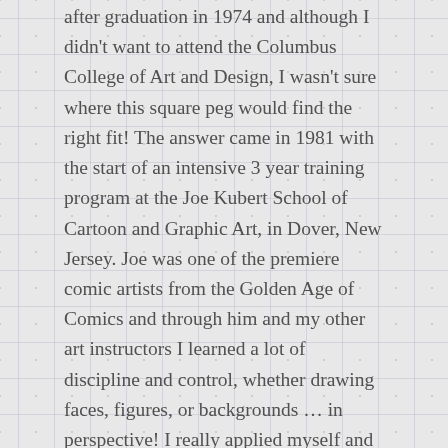after graduation in 1974 and although I didn't want to attend the Columbus College of Art and Design, I wasn't sure where this square peg would find the right fit! The answer came in 1981 with the start of an intensive 3 year training program at the Joe Kubert School of Cartoon and Graphic Art, in Dover, New Jersey. Joe was one of the premiere comic artists from the Golden Age of Comics and through him and my other art instructors I learned a lot of discipline and control, whether drawing faces, figures, or backgrounds … in perspective! I really applied myself and was fortunate to be one of their top students … but something was missing and I realized I really didn't care to draw flying men in tights all the time! Luckily a good part of my training also involved graphic